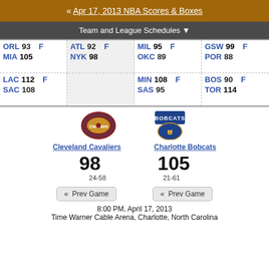« Apr 17, 2013 NBA Scores & Boxes
Team and League Schedules ▼
| Team | Score | F | Team | Score | F | Team | Score | F | Team | Score | F |
| --- | --- | --- | --- | --- | --- | --- | --- | --- | --- | --- | --- |
| ORL | 93 | F | ATL | 92 | F | MIL | 95 | F | GSW | 99 | F |
| MIA | 105 |  | NYK | 98 |  | OKC | 89 |  | POR | 88 |  |
| LAC | 112 | F |  |  |  | MIN | 108 | F | BOS | 90 | F |
| SAC | 108 |  |  |  |  | SAS | 95 |  | TOR | 114 |  |
[Figure (logo): Cleveland Cavaliers logo]
[Figure (logo): Charlotte Bobcats logo]
Cleveland Cavaliers
Charlotte Bobcats
98
105
24-58
21-61
« Prev Game
« Prev Game
8:00 PM, April 17, 2013
Time Warner Cable Arena, Charlotte, North Carolina